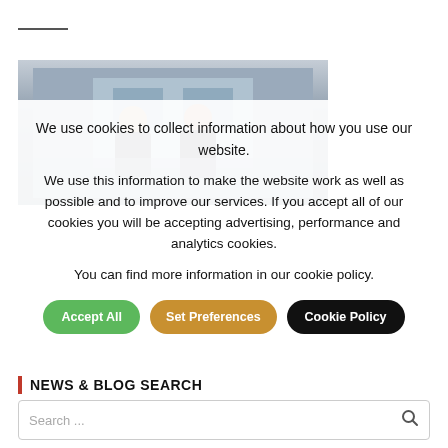[Figure (photo): Two young men in front of a building, partially obscured by cookie consent overlay]
We use cookies to collect information about how you use our website.
We use this information to make the website work as well as possible and to improve our services. If you accept all of our cookies you will be accepting advertising, performance and analytics cookies.
You can find more information in our cookie policy.
NEWS & BLOG SEARCH